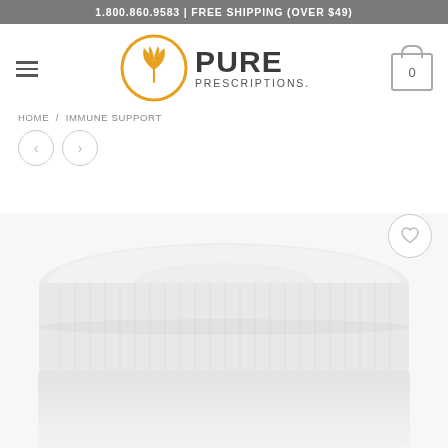1.800.860.9583 | FREE SHIPPING (OVER $49)
[Figure (logo): Pure Prescriptions logo with orange leaf/plant icon in circle and text PURE PRESCRIPTIONS]
HOME / IMMUNE SUPPORT
[Figure (screenshot): White supplement container with ribbed white lid, top view, partially cropped, on white background]